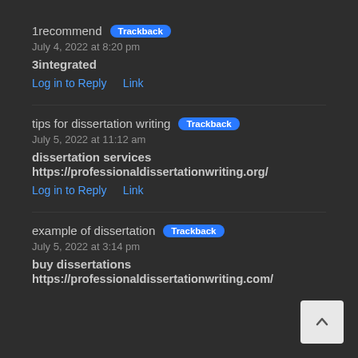1recommend Trackback
July 4, 2022 at 8:20 pm
3integrated
Log in to Reply   Link
tips for dissertation writing Trackback
July 5, 2022 at 11:12 am
dissertation services
https://professionaldissertationwriting.org/
Log in to Reply   Link
example of dissertation Trackback
July 5, 2022 at 3:14 pm
buy dissertations
https://professionaldissertationwriting.com/